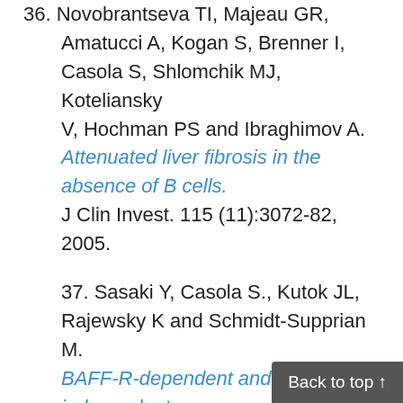36. Novobrantseva TI, Majeau GR, Amatucci A, Kogan S, Brenner I, Casola S, Shlomchik MJ, Koteliansky V, Hochman PS and Ibraghimov A. Attenuated liver fibrosis in the absence of B cells. J Clin Invest. 115 (11):3072-82, 2005.
37. Sasaki Y, Casola S., Kutok JL, Rajewsky K and Schmidt-Supprian M. BAFF-R-dependent and -independent roles in B cell physiology. Immunity. 170(4):35-45, 2004.